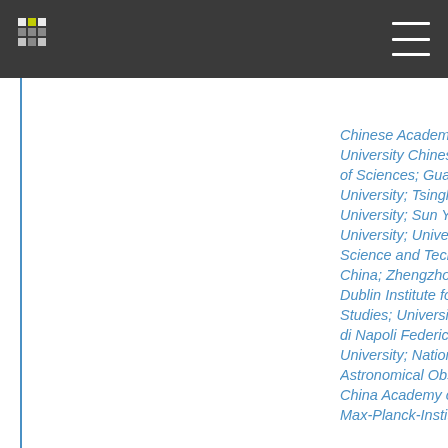Chinese Academy of Science; University Chinese Academy of Sciences; Guangzhou University; Tsinghua University; Sun Yat-Sen University; University of Science and Technology of China; Zhengzhou University; Dublin Institute for Advanced Studies; Università degli Studi di Napoli Federico II; Sichuan University; National Astronomical Observatories China Academy of Science Max-Planck-Institut